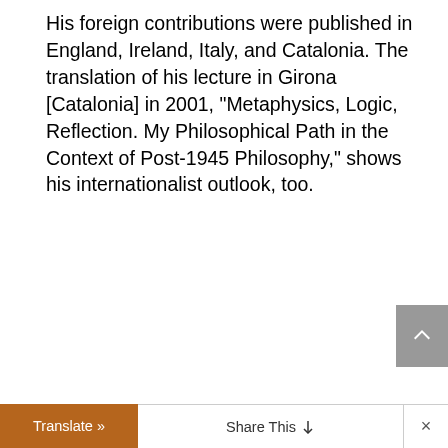His foreign contributions were published in England, Ireland, Italy, and Catalonia. The translation of his lecture in Girona [Catalonia] in 2001, "Metaphysics, Logic, Reflection. My Philosophical Path in the Context of Post-1945 Philosophy," shows his internationalist outlook, too.
He maintained special relations with Turkish organizations and institutions; several of his articles appeared translated into Turkish. The ties go back to a speech Hans Heinz had given in Istanbul on May 8, 2005. What outstanding European philosopher, starting well into the new has given a speech at a
Translate » Share This ✓ ×